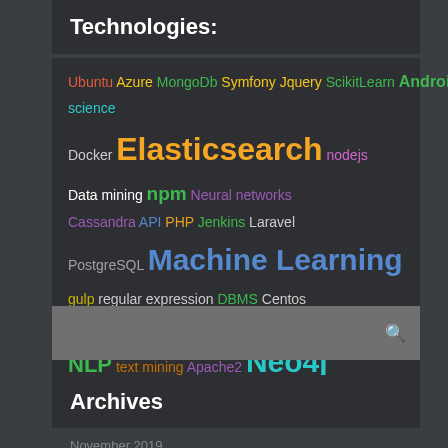Technologies:
[Figure (infographic): Tag cloud of technology terms in various colors and sizes on a dark background: Ubuntu, Azure, MongoDb, Symfony, Jquery, ScikitLearn, Android, data science, Docker, Elasticsearch, nodejs, Data mining, npm, Neural networks, Cassandra, API, PHP, Jenkins, Laravel, PostgreSQL, Machine Learning, gulp, regular expression, DBMS, Centos, SigmaJS, Server administration, Pandas, NLP, text mining, Apache2, Neo4j, JavaScript, Kibana, Nginx, Yii2]
Archives
November 2019